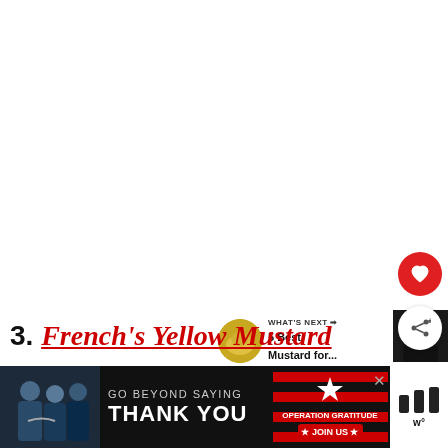[Figure (screenshot): White blank content area taking up most of the page]
[Figure (illustration): Red circular heart/favorite button icon on the right side]
[Figure (illustration): White circular share button with share icon on the right side]
[Figure (photo): What's Next panel with thumbnail image of mustard and text '5 Best Mustard for...']
3. French's Yellow Mustard
[Figure (photo): Yellow mustard bottle image at the bottom center]
[Figure (photo): Advertisement banner: GO BEYOND SAYING THANK YOU - Operation Gratitude JOIN US - with people photo on left]